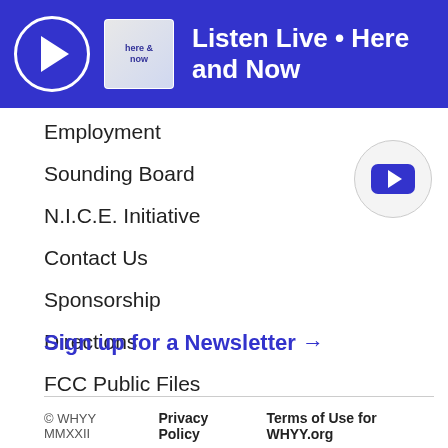Listen Live • Here and Now
Employment
Sounding Board
N.I.C.E. Initiative
Contact Us
Sponsorship
Directions
FCC Public Files
[Figure (logo): YouTube play button icon in a circle]
Sign up for a Newsletter →
© WHYY MMXXII   Privacy Policy   Terms of Use for WHYY.org   WHYY is partnered with